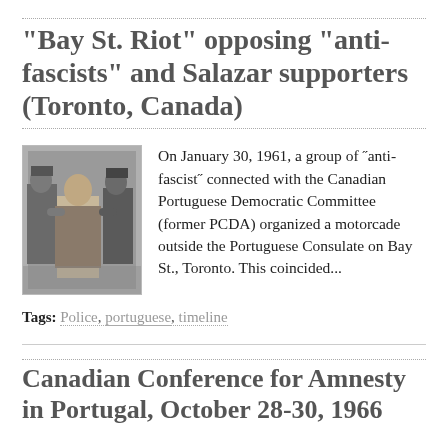"Bay St. Riot" opposing "anti-fascists" and Salazar supporters (Toronto, Canada)
[Figure (photo): Black and white photograph of a man being restrained by two police officers]
On January 30, 1961, a group of "anti-fascist" connected with the Canadian Portuguese Democratic Committee (former PCDA) organized a motorcade outside the Portuguese Consulate on Bay St., Toronto. This coincided...
Tags: Police, portuguese, timeline
Canadian Conference for Amnesty in Portugal, October 28-30, 1966